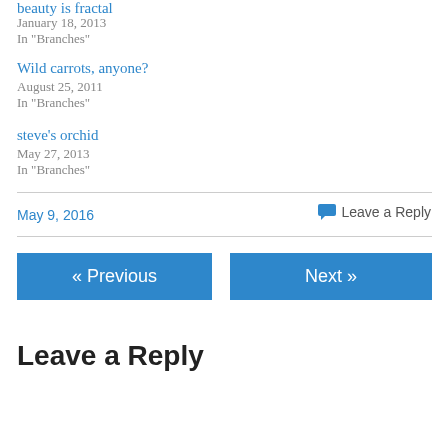beauty is fractal
January 18, 2013
In "Branches"
Wild carrots, anyone?
August 25, 2011
In "Branches"
steve's orchid
May 27, 2013
In "Branches"
May 9, 2016
Leave a Reply
« Previous
Next »
Leave a Reply